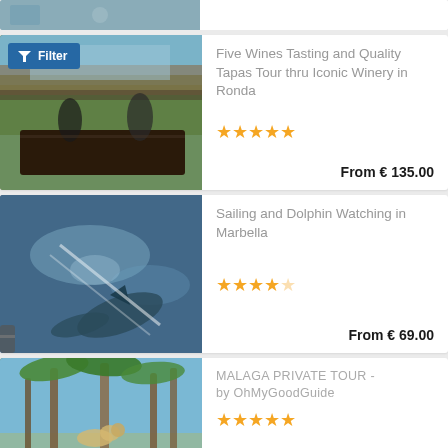[Figure (photo): Partial view of top card - beach/cycling scene]
[Figure (photo): Filter overlay button with funnel icon]
Five Wines Tasting and Quality Tapas Tour thru Iconic Winery in Ronda
★★★★★
From € 135.00
[Figure (photo): Sailing and dolphin watching - underwater view of dolphins]
Sailing and Dolphin Watching in Marbella
★★★★☆
From € 69.00
[Figure (photo): Palm trees with dog - Malaga private tour]
MALAGA PRIVATE TOUR - by OhMyGoodGuide
★★★★★